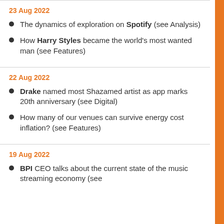23 Aug 2022
The dynamics of exploration on Spotify (see Analysis)
How Harry Styles became the world's most wanted man (see Features)
22 Aug 2022
Drake named most Shazamed artist as app marks 20th anniversary (see Digital)
How many of our venues can survive energy cost inflation? (see Features)
19 Aug 2022
BPI CEO talks about the current state of the music streaming economy (see Critics)